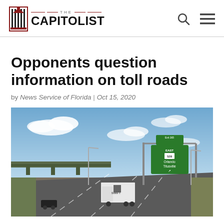THE CAPITOLIST
Opponents question information on toll roads
by News Service of Florida | Oct 15, 2020
[Figure (photo): Highway scene with green directional signs reading 'Exit 265 East 528 Orlando Titusville' on a gantry over a multi-lane road with a truck and cars, overpass in background, blue sky with clouds.]